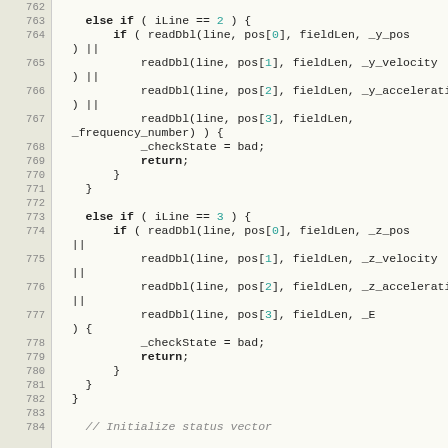[Figure (screenshot): Source code listing showing C++ code lines 762-784, with line numbers on the left column and code on the right. The code shows conditional blocks checking iLine == 2 and iLine == 3, reading double values and setting _checkState = bad with return statements.]